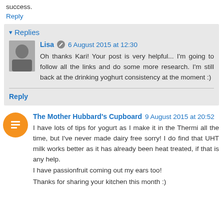success.
Reply
▾ Replies
Lisa  6 August 2015 at 12:30
Oh thanks Kari! Your post is very helpful... I'm going to follow all the links and do some more research. I'm still back at the drinking yoghurt consistency at the moment :)
Reply
The Mother Hubbard's Cupboard  9 August 2015 at 20:52
I have lots of tips for yogurt as I make it in the Thermi all the time, but I've never made dairy free sorry! I do find that UHT milk works better as it has already been heat treated, if that is any help.
I have passionfruit coming out my ears too!
Thanks for sharing your kitchen this month :)